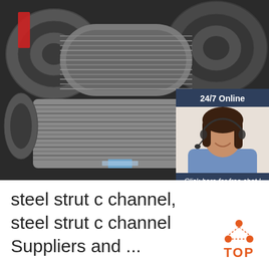[Figure (photo): Large spools/coils of steel wire or rod stock stacked in an industrial warehouse setting, shown in gray tones. An overlay chat widget appears in the bottom-right showing a customer service representative with headset, '24/7 Online' header, 'Click here for free chat!' text, and an orange QUOTATION button.]
steel strut c channel, steel strut c channel Suppliers and ...
[Figure (logo): Orange 'TOP' logo with dot-triangle icon above the text]